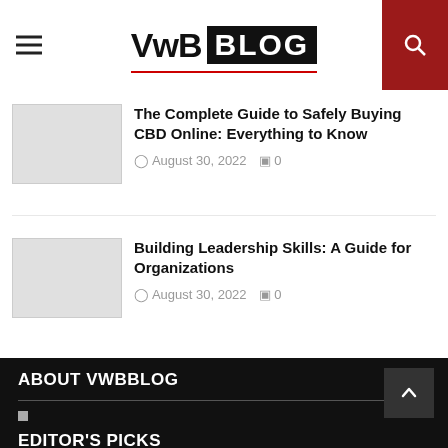VwB BLOG
The Complete Guide to Safely Buying CBD Online: Everything to Know
August 30, 2022   0
Building Leadership Skills: A Guide for Organizations
August 30, 2022   0
ABOUT VWBBLOG
EDITOR'S PICKS